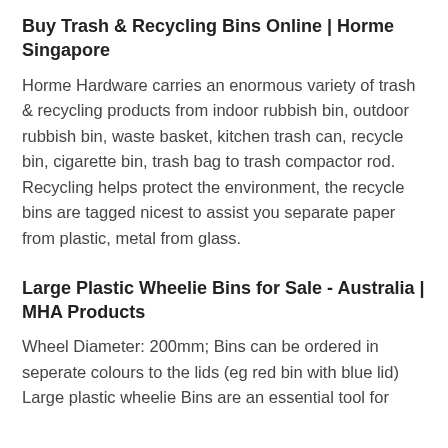Buy Trash & Recycling Bins Online | Horme Singapore
Horme Hardware carries an enormous variety of trash & recycling products from indoor rubbish bin, outdoor rubbish bin, waste basket, kitchen trash can, recycle bin, cigarette bin, trash bag to trash compactor rod. Recycling helps protect the environment, the recycle bins are tagged nicest to assist you separate paper from plastic, metal from glass.
Large Plastic Wheelie Bins for Sale - Australia | MHA Products
Wheel Diameter: 200mm; Bins can be ordered in seperate colours to the lids (eg red bin with blue lid) Large plastic wheelie Bins are an essential tool for